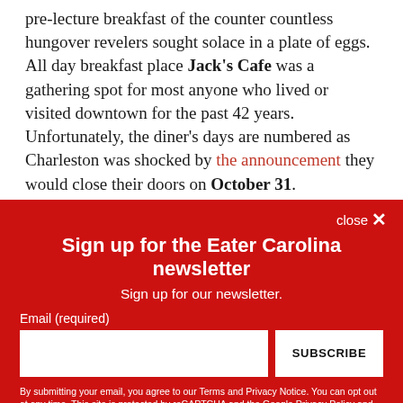pre-lecture breakfast of the counter countless hungover revelers sought solace in a plate of eggs. All day breakfast place Jack's Cafe was a gathering spot for most anyone who lived or visited downtown for the past 42 years. Unfortunately, the diner's days are numbered as Charleston was shocked by the announcement they would close their doors on October 31.
[Figure (screenshot): Newsletter signup overlay with red background. Title: Sign up for the Eater Carolina newsletter. Subtitle: Sign up for our newsletter. Email input field and SUBSCRIBE button. Disclaimer text about Terms, Privacy Notice, reCAPTCHA and Google Privacy Policy.]